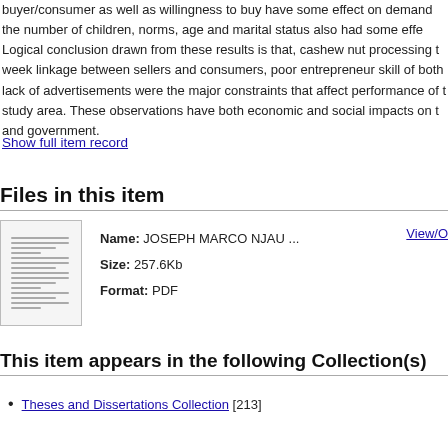buyer/consumer as well as willingness to buy have some effect on demand the number of children, norms, age and marital status also had some effe Logical conclusion drawn from these results is that, cashew nut processing t week linkage between sellers and consumers, poor entrepreneur skill of both lack of advertisements were the major constraints that affect performance of t study area. These observations have both economic and social impacts on t and government.
Show full item record
Files in this item
[Figure (other): Thumbnail image of a document page showing text lines]
Name: JOSEPH MARCO NJAU ...
Size: 257.6Kb
Format: PDF
This item appears in the following Collection(s)
Theses and Dissertations Collection [213]